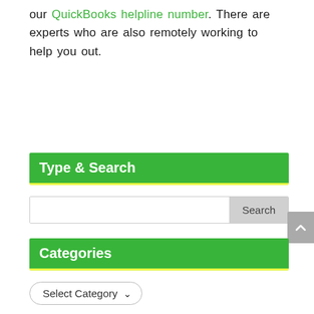our QuickBooks helpline number. There are experts who are also remotely working to help you out.
Type & Search
Search
Categories
Select Category